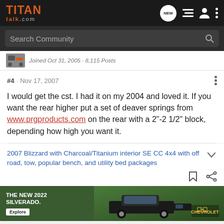TITAN talk.com
Search Community
Joined Oct 31, 2005 · 8,115 Posts
#4 · Nov 17, 2007
I would get the cst. I had it on my 2004 and loved it. If you want the rear higher put a set of deaver springs from www.prgproducts.com on the rear with a 2"-2 1/2" block, depending how high you want it.
2007 Blizzard with Charcoal/Titanium interior SE CC 4x4 with off road, tow, popular bench, and utility bed packages
[Figure (photo): Advertisement: The New 2022 Silverado - Chevrolet]